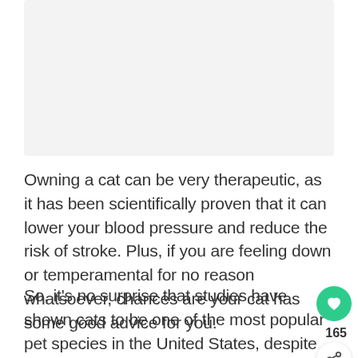[Figure (photo): Image placeholder area at the top of the page, light gray background]
Owning a cat can be very therapeutic, as it has been scientifically proven that it can lower your blood pressure and reduce the risk of stroke. Plus, if you are feeling down or temperamental for no reason whatsoever, chances are your cat has some good advice for you.
So, it's no surprise that studies have shown cats to be one of the most popular pet species in the United States, despite their high maintenance demands. According to one survey, nearly every family with a cat